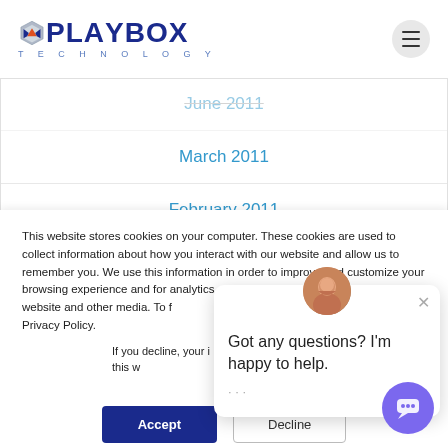[Figure (logo): PlayBox Technology logo with hexagonal icon]
June 2011
March 2011
February 2011
This website stores cookies on your computer. These cookies are used to collect information about how you interact with our website and allow us to remember you. We use this information in order to improve and customize your browsing experience and for analytics and metrics about our visitors both on this website and other media. To find out more about the cookies we use, see our Privacy Policy.
If you decline, your information won't be tracked when you visit this website. A single cookie will be used in your browser to remember your preference not to be tracked.
[Figure (screenshot): Chat popup widget with avatar and message 'Got any questions? I'm happy to help.']